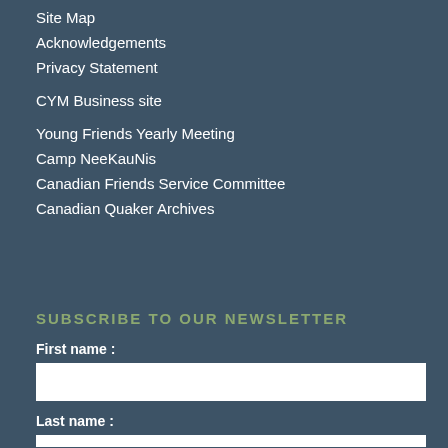Site Map
Acknowledgements
Privacy Statement
CYM Business site
Young Friends Yearly Meeting
Camp NeeKauNis
Canadian Friends Service Committee
Canadian Quaker Archives
SUBSCRIBE TO OUR NEWSLETTER
First name :
Last name :